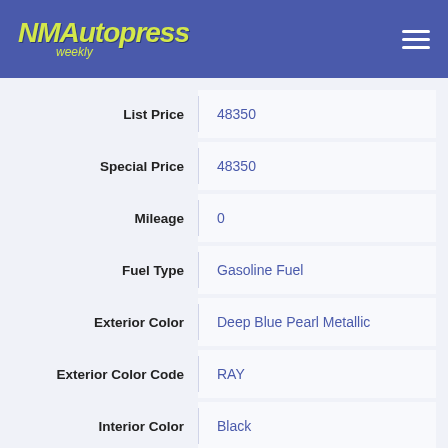[Figure (logo): NM Autopress Weekly logo in yellow-green on blue header background]
| Field | Value |
| --- | --- |
| List Price | 48350 |
| Special Price | 48350 |
| Mileage | 0 |
| Fuel Type | Gasoline Fuel |
| Exterior Color | Deep Blue Pearl Metallic |
| Exterior Color Code | RAY |
| Interior Color | Black |